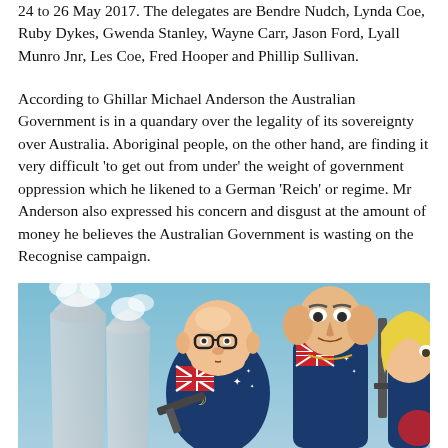24 to 26 May 2017. The delegates are Bendre Nudch, Lynda Coe, Ruby Dykes, Gwenda Stanley, Wayne Carr, Jason Ford, Lyall Munro Jnr, Les Coe, Fred Hooper and Phillip Sullivan.
According to Ghillar Michael Anderson the Australian Government is in a quandary over the legality of its sovereignty over Australia. Aboriginal people, on the other hand, are finding it very difficult 'to get out from under' the weight of government oppression which he likened to a German 'Reich' or regime. Mr Anderson also expressed his concern and disgust at the amount of money he believes the Australian Government is wasting on the Recognise campaign.
[Figure (illustration): Political cartoon illustration showing three caricatured figures dressed in Australian flag-patterned military-style uniforms holding weapons (guns/rifles), set against a blue sky with industrial cooling towers in the background. The figures appear to be satirical depictions of political figures.]